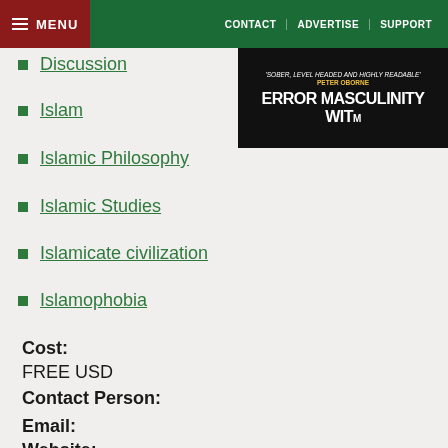MENU | CONTACT | ADVERTISE | SUPPORT
[Figure (photo): Book cover image with text: 'SOBER, LEVEL HEADED AND HIGHLY READABLE' PETER OBORNE, ERROR MASCULINITY WIT...]
Discussion
Islam
Islamic Philosophy
Islamic Studies
Islamicate civilization
Islamophobia
Cost:
FREE USD
Contact Person:
Email:
Website: